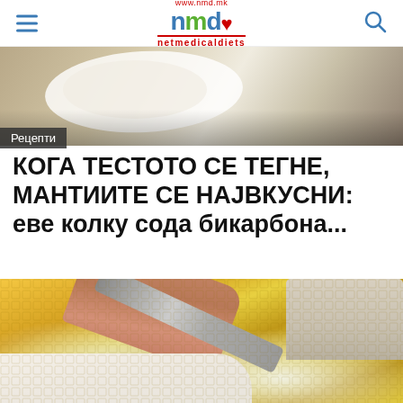www.nmd.mk — netmedicaldiets logo with hamburger menu and search icon
[Figure (photo): Close-up photo of food on a white plate, top portion of article]
Рецепти
КОГА ТЕСТОТО СЕ ТЕГНЕ, МАНТИИТЕ СЕ НАЈВКУСНИ: еве колку сода бикарбона...
[Figure (photo): Close-up photo of diced potatoes/vegetables being mixed with cream sauce using a spoon, hands visible]